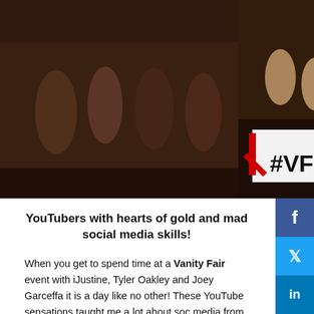[Figure (photo): Three event photos side by side: left shows people sitting in conversation at a dark venue, center shows a group posing in front of a #VFSC sign, right shows people posing in a dark setting]
YouTubers with hearts of gold and mad social media skills!
When you get to spend time at a Vanity Fair event with iJustine, Tyler Oakley and Joey Garceffa it is a day like no other! These YouTube sensations taught me a lot about social media from the eyes of millennials. Have to admit I bow with respect to all as they are accomplished authors on top of having loyal fans and profitable YouTube channels. It was a pleasure to meet them during OSCARS 2015 (actually, I had